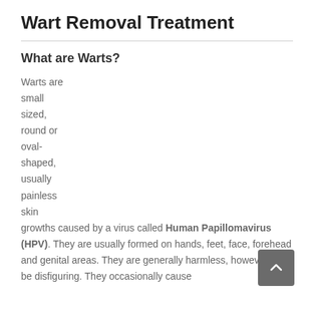Wart Removal Treatment
What are Warts?
Warts are small sized, round or oval-shaped, usually painless skin growths caused by a virus called Human Papillomavirus (HPV). They are usually formed on hands, feet, face, forehead and genital areas. They are generally harmless, however, can be disfiguring. They occasionally cause